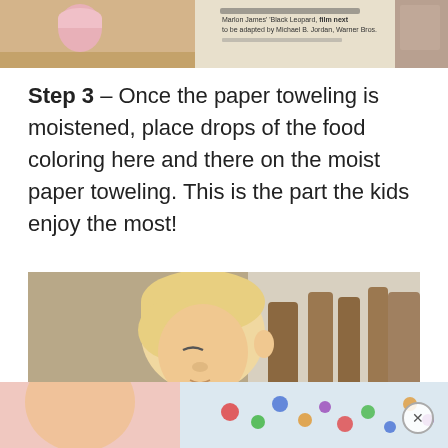[Figure (photo): Top strip showing a newspaper with text about Marlon James' Black Leopard and a pink cup on a table, partially cropped]
Step 3 – Once the paper toweling is moistened, place drops of the food coloring here and there on the moist paper toweling. This is the part the kids enjoy the most!
[Figure (photo): A young blonde boy in a red shirt leaning over a paper towel activity on a table, concentrating on placing food coloring drops]
[Figure (photo): Bottom strip showing the paper towel with colorful food coloring dots on it, partially visible]